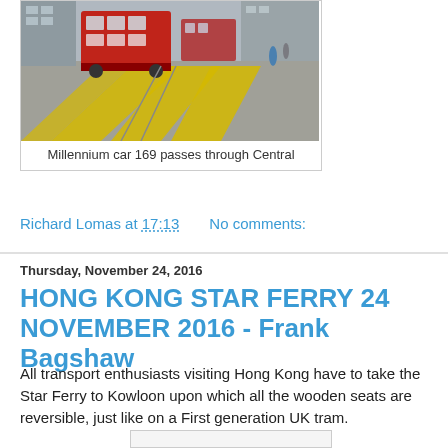[Figure (photo): A red double-decker tram (Millennium car 169) passing through Central, Hong Kong, with yellow road markings visible]
Millennium car 169 passes through Central
Richard Lomas at 17:13    No comments:
Thursday, November 24, 2016
HONG KONG STAR FERRY 24 NOVEMBER 2016 - Frank Bagshaw
All transport enthusiasts visiting Hong Kong have to take the Star Ferry to Kowloon upon which all the wooden seats are reversible, just like on a First generation UK tram.
[Figure (photo): Partially visible photo at the bottom of the page]